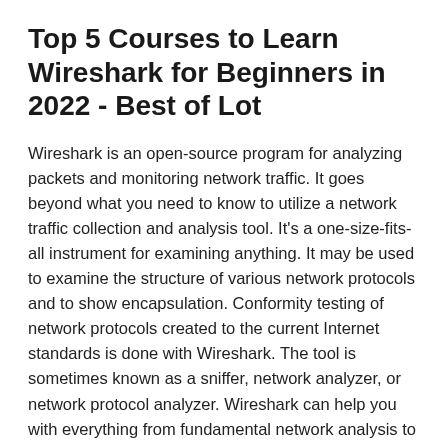Top 5 Courses to Learn Wireshark for Beginners in 2022 - Best of Lot
Wireshark is an open-source program for analyzing packets and monitoring network traffic. It goes beyond what you need to know to utilize a network traffic collection and analysis tool. It's a one-size-fits-all instrument for examining anything. It may be used to examine the structure of various network protocols and to show encapsulation. Conformity testing of network protocols created to the current Internet standards is done with Wireshark. The tool is sometimes known as a sniffer, network analyzer, or network protocol analyzer. Wireshark can help you with everything from fundamental network analysis to expert network analysis. Learn how to use Wireshark from the ground up.
5 Best Wireshark Online Courses for Beginners in 2022
With this in mind, we've compiled a list of the Best Online